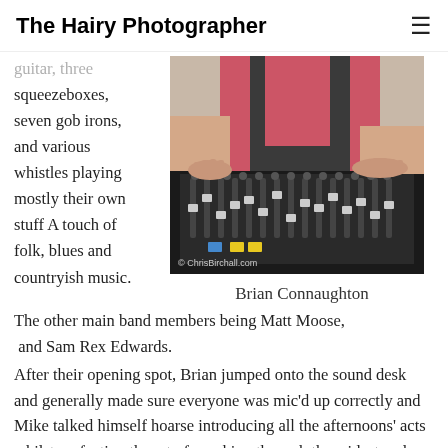The Hairy Photographer
guitar, three squeezeboxes, seven gob irons, and various whistles playing mostly their own stuff A touch of folk, blues and countryish music.
[Figure (photo): Person operating a mixing desk / sound board, wearing a pink shirt. Watermark: © ChrisBirchall.com]
Brian Connaughton
The other main band members being Matt Moose,  and Sam Rex Edwards.
After their opening spot, Brian jumped onto the sound desk and generally made sure everyone was mic'd up correctly and Mike talked himself hoarse introducing all the afternoons' acts whilst perfecting the art of speaking through the widest and most